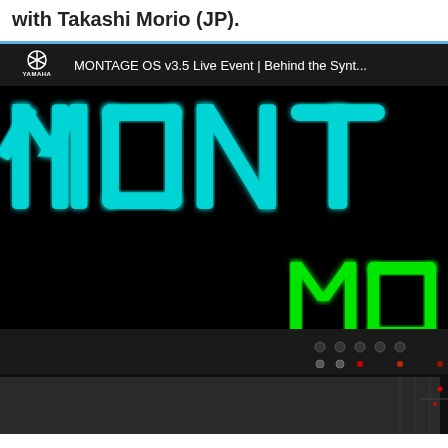with Takashi Morio (JP).
[Figure (screenshot): YouTube video thumbnail showing Yamaha MONTAGE OS v3.5 Live Event | Behind the Synt... with large cyan block letters spelling MONT on black background, smaller green letters bottom right, and Yamaha synthesizer keyboard visible at bottom]